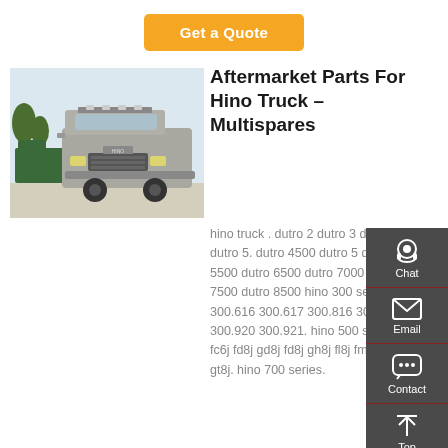Get a Quote
[Figure (photo): Front view of a Hino heavy truck (silver cab-over) parked on a lot with trees in the background]
Aftermarket Parts For Hino Truck – Multispares
hino truck . dutro 2 dutro 3 dutro 4 dutro 5. dutro 4500 dutro 5 dutro 5500 dutro 6500 dutro 7000 dutro 7500 dutro 8500 hino 300 series. 300.616 300.617 300.816 300.916 300.920 300.921. hino 500 series. fc6j fd8j gd8j fd8j gh8j fl8j fm8j ft8j gt8j. hino 700 series.